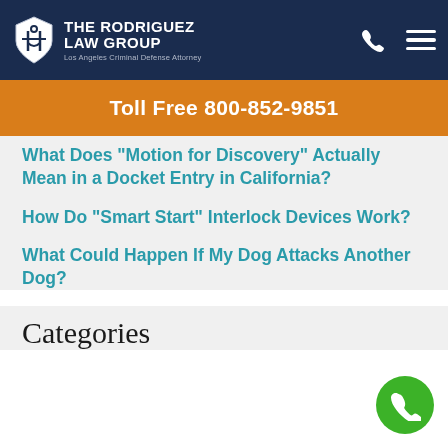[Figure (logo): The Rodriguez Law Group logo with shield icon and text 'THE RODRIGUEZ LAW GROUP - Los Angeles Criminal Defense Attorney' on dark navy navigation bar with phone and hamburger menu icons]
Toll Free 800-852-9851
What Does “Motion for Discovery” Actually Mean in a Docket Entry in California?
How Do “Smart Start” Interlock Devices Work?
What Could Happen If My Dog Attacks Another Dog?
Categories